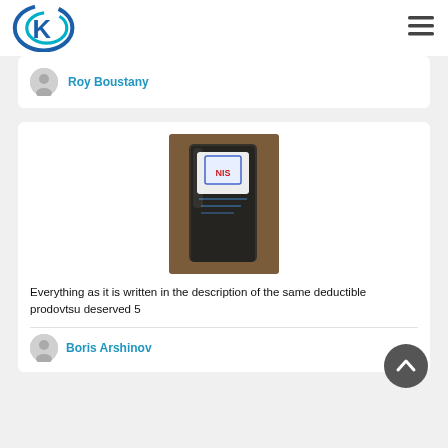K logo and hamburger menu
Roy Boustany
[Figure (photo): Product photo: a packaged item in a clear plastic bag with a label, held or placed on a surface.]
Everything as it is written in the description of the same deductible prodovtsu deserved 5
Boris Arshinov